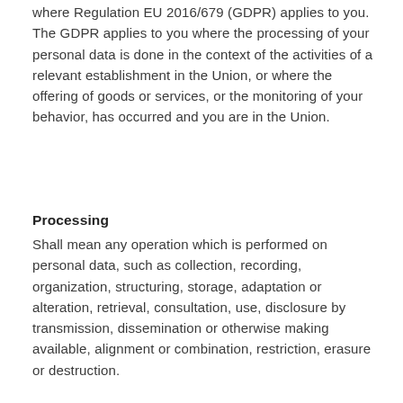where Regulation EU 2016/679 (GDPR) applies to you. The GDPR applies to you where the processing of your personal data is done in the context of the activities of a relevant establishment in the Union, or where the offering of goods or services, or the monitoring of your behavior, has occurred and you are in the Union.
Processing
Shall mean any operation which is performed on personal data, such as collection, recording, organization, structuring, storage, adaptation or alteration, retrieval, consultation, use, disclosure by transmission, dissemination or otherwise making available, alignment or combination, restriction, erasure or destruction.